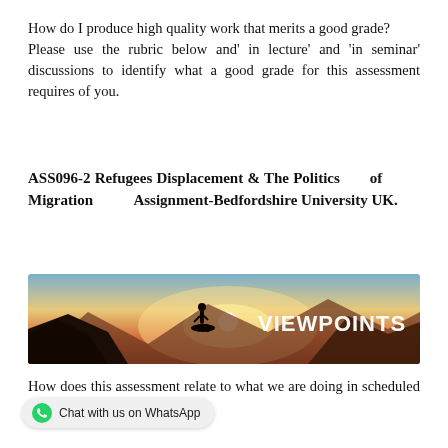How do I produce high quality work that merits a good grade?
Please use the rubric below and' in lecture' and 'in seminar' discussions to identify what a good grade for this assessment requires of you.
ASS096-2 Refugees Displacement & The Politics of Migration Assignment-Bedfordshire University UK.
[Figure (illustration): Banner image with a silhouette of a person standing on a rocky outcrop against a sunset sky with mountains in the background. Large white text reads 'VIEWPOINTS'.]
How does this assessment relate to what we are doing in scheduled sessions?